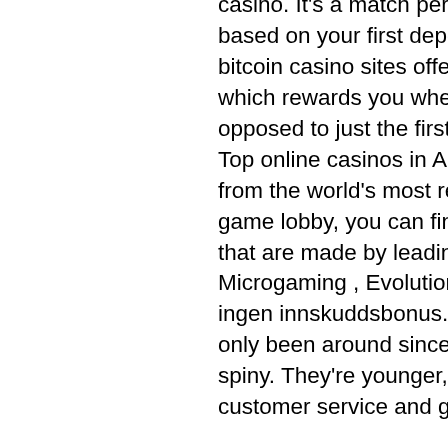casino. It's a match percentage bonus, with the bonus value based on your first deposit, up to a certain amount e. Some bitcoin casino sites offer a more comprehensive match bonus, which rewards you when you make your first few deposits, as opposed to just the first one, bitstarz casino 20 ilmaiskierroksia. Top online casinos in Australia usually give up-to-date games from the world's most reputable software providers. On their game lobby, you can find many different online casino games that are made by leading software companies such as Microgaming , Evolution Gaming , or BetSoft Gaming, bitstarz ingen innskuddsbonus. The other BTC casinos on my list have only been around since 2014 or later, bitstarz casino darmowe spiny. They're younger, but they make up for it with strong customer service and great promotions. The games are a mix of